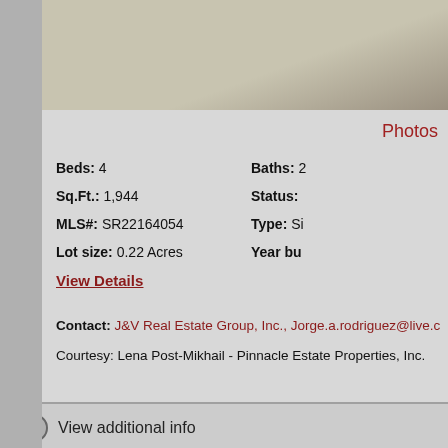[Figure (photo): Top portion of a property photo showing a light concrete or stone surface]
Photos
Beds: 4
Baths: 2
Sq.Ft.: 1,944
Status:
MLS#: SR22164054
Type: Si
Lot size: 0.22 Acres
Year bu
View Details
Contact: J&V Real Estate Group, Inc., Jorge.a.rodriguez@live.c
Courtesy: Lena Post-Mikhail - Pinnacle Estate Properties, Inc.
View additional info
$5,000  9739 Quartz Avenue Chatsworth, CA 91311
[Figure (photo): Bottom portion showing a blue sky or water property photo]